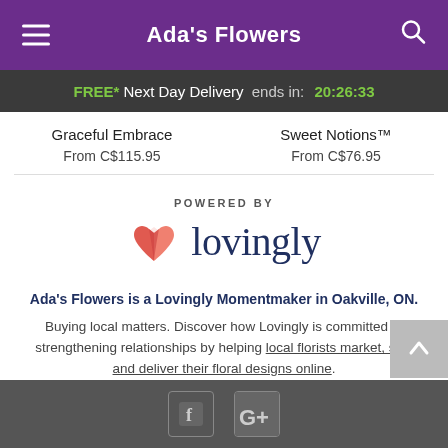Ada's Flowers
FREE* Next Day Delivery ends in: 20:26:33
Graceful Embrace
From C$115.95
Sweet Notions™
From C$76.95
[Figure (logo): Lovingly logo with pink/red heart-book icon and 'lovingly' wordmark in dark navy, preceded by 'POWERED BY' text]
Ada's Flowers is a Lovingly Momentmaker in Oakville, ON.
Buying local matters. Discover how Lovingly is committed to strengthening relationships by helping local florists market, sell, and deliver their floral designs online.
Social media icons: Facebook, Google+